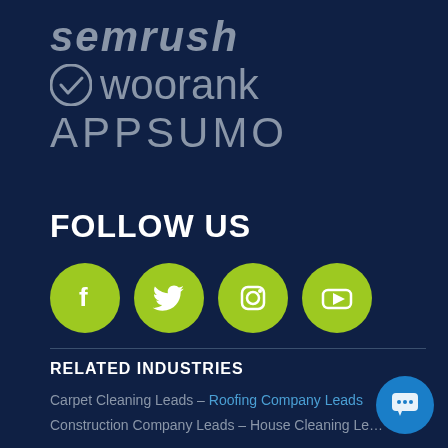[Figure (logo): SEMrush logo in italic bold gray text]
[Figure (logo): WooRank logo with checkmark icon in gray]
[Figure (logo): AppSumo logo in uppercase gray letters]
FOLLOW US
[Figure (infographic): Four social media icons (Facebook, Twitter, Instagram, YouTube) as lime green circles with white icons]
RELATED INDUSTRIES
Carpet Cleaning Leads – Roofing Company Leads
Construction Company Leads – House Cleaning Leads